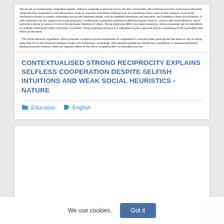that we are an evolutionarily cooperative species, willing to cooperate at personal cost to see that communities with sustained and even anonymous individuals. Understanding cooperation to see that situation poses an important theoretical challenge from an evolutionary theory point of view: because some of the mechanisms known to support cooperation among self-interested people, such as repeated interactions and reputation, are available in these circumstances. A safe explanation for this capacity we strong reciprocity: a widespread cooperative preference reflecting inequity aversion, concern with social efficiency, and in particular a desire to respond in kind to the perceived intentions of others. Strong reciprocity differs from weak reciprocity, whose expression can be rationalised by strategic thinking and selfish incentives. In contrast, strong reciprocity amounts to a willingness to pay a personal cost for cooperating on the expectation that others do the same.
   The Social Heuristics Hypothesis (SHH) proposed a cognitive process explanation for cooperation in one-shot public good games that does not rely on strong reciprocity but on the distinction between intuition and deliberation. Accordingly, self-interested people who benefit from cooperation in repeated interactions develop prosocial intuitions, which are cognitive effects at the risk of compelling them to rationalise any that
CONTEXTUALISED STRONG RECIPROCITY EXPLAINS SELFLESS COOPERATION DESPITE SELFISH INTUITIONS AND WEAK SOCIAL HEURISTICS - NATURE
Education   English
[Figure (other): White card area below the article listing, partially visible, appears blank or cut off]